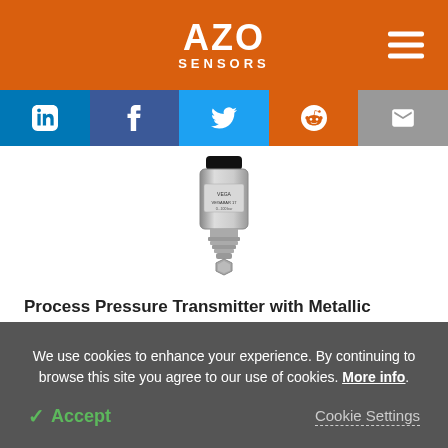AZO SENSORS
[Figure (photo): Process Pressure Transmitter with Metallic Measuring Cell - VEGABAR 17 product photo showing a cylindrical stainless steel pressure sensor with black connector top and threaded bottom]
Process Pressure Transmitter with Metallic Measuring Cell - VEGABAR 17
We use cookies to enhance your experience. By continuing to browse this site you agree to our use of cookies. More info.
Accept   Cookie Settings